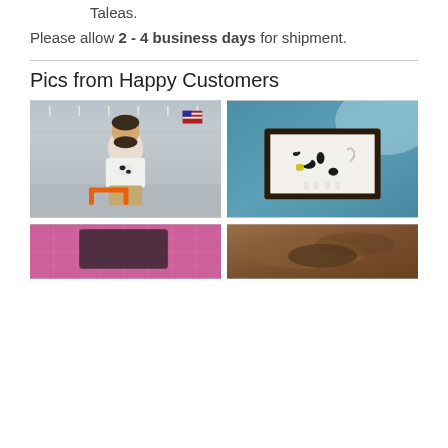Taleas.
Please allow 2 - 4 business days for shipment.
Pics from Happy Customers
[Figure (photo): Man in white t-shirt with cow design standing in a store, holding an orange cart handle, with store aisles and American flag in background]
[Figure (photo): Framed cartoon cow drawing hanging on a blue wall]
[Figure (photo): Pink cutting mat with dark object on it]
[Figure (photo): Brown leather surface with object on it]